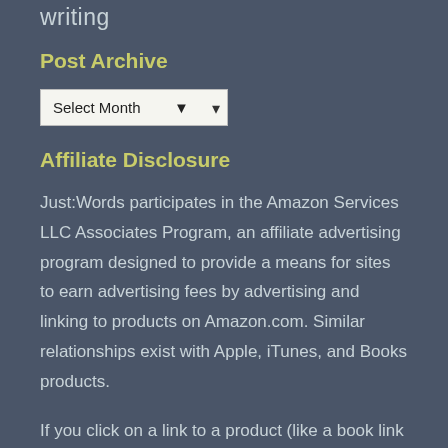writing
Post Archive
Select Month
Affiliate Disclosure
Just:Words participates in the Amazon Services LLC Associates Program, an affiliate advertising program designed to provide a means for sites to earn advertising fees by advertising and linking to products on Amazon.com. Similar relationships exist with Apple, iTunes, and Books products.
If you click on a link to a product (like a book link or a song link), RameyLady might earn a small commission